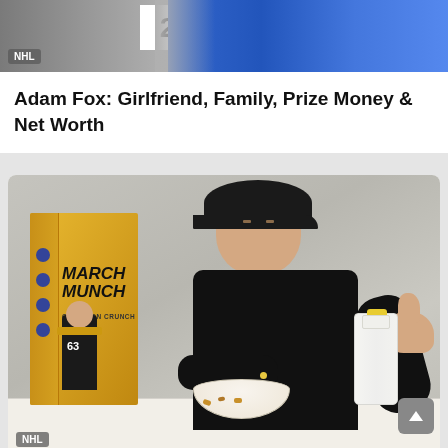[Figure (photo): Top portion of an NHL article card showing a hockey player in a blue jersey, partially cropped]
Adam Fox: Girlfriend, Family, Prize Money & Net Worth
[Figure (photo): Man wearing a black cap and black long sleeve shirt sitting at a table with a March Munch cereal box, a bowl of cereal, and a milk bottle, giving a thumbs up. NHL badge in bottom left corner.]
Brad Marchand: Wife, Family, Prize Money & Net Worth